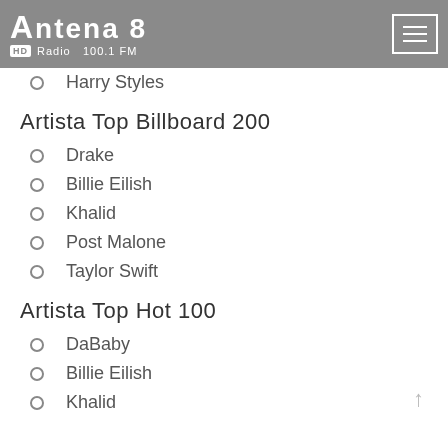Antena 8 HD Radio 100.1 FM
Harry Styles
Artista Top Billboard 200
Drake
Billie Eilish
Khalid
Post Malone
Taylor Swift
Artista Top Hot 100
DaBaby
Billie Eilish
Khalid